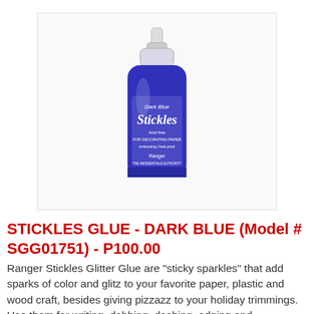[Figure (photo): A small dark blue glitter glue bottle with a pointed tip applicator. The label reads 'Dark Blue Stickles, Acid free, For Decorating Paper, Ranger' on a white background inside a light grey bordered box.]
STICKLES GLUE - DARK BLUE (Model # SGG01751) - P100.00
Ranger Stickles Glitter Glue are "sticky sparkles" that add sparks of color and glitz to your favorite paper, plastic and wood craft, besides giving pizzazz to your holiday trimmings. Use them for writing, dabbing, dashing, edging and embellishing. They're great fun at home or school. Easy to